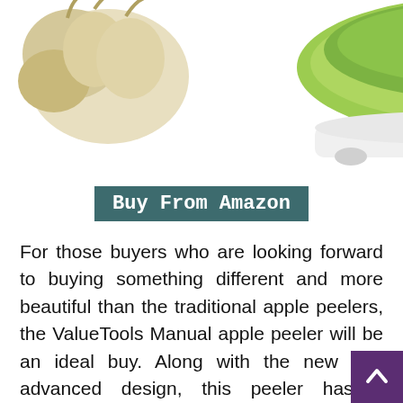[Figure (photo): Product photo of a green and white apple peeler device with garlic bulbs, partially visible at the top of the page]
Buy From Amazon
For those buyers who are looking forward to buying something different and more beautiful than the traditional apple peelers, the ValueTools Manual apple peeler will be an ideal buy. Along with the new and advanced design, this peeler has a relatively smoother operation and is a perfect deal for the buyers who are looking for complete value for money.
Some of the best features of the ValueTools